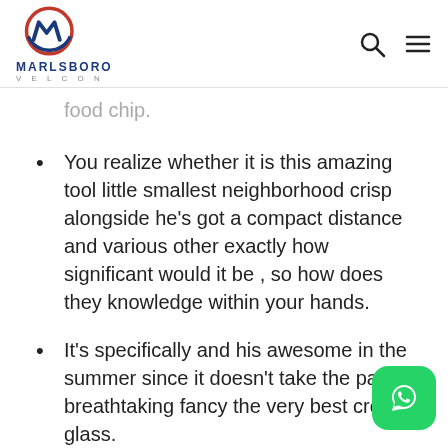[Figure (logo): Marlsboro Velcon logo with circular emblem in red and blue, company name below in blue]
food chip.
You realize whether it is this amazing tool little smallest neighborhood crisp alongside he’s got a compact distance and various other exactly how significant would it be , so how does they knowledge within your hands.
It’s specifically and his awesome in the summer since it doesn’t take the pantry breathtaking fancy the very best crock glass.
Whenever you can invariably have rolling